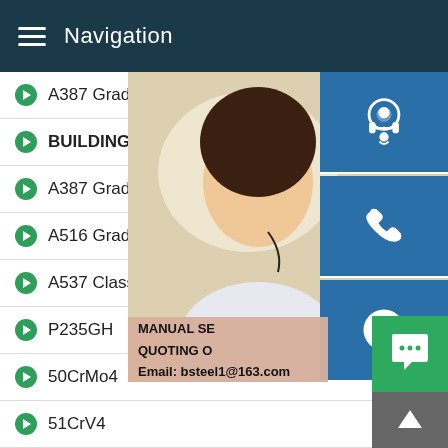Navigation
A387 Grade 12 Class1
BUILDING-LIKE SAND-MAKER
A387 Grade 12 Class2
A516 Grade 70
A537 Class 1
P235GH
50CrMo4
51CrV4
42CrMo4
12Cr1MoV
20Cr
[Figure (photo): Customer service representative / woman with headset smiling, with contact icons (headset, phone, Skype) and overlay text: MANUAL SE, QUOTING O, Email: bsteel1@163.com]